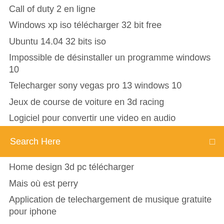Call of duty 2 en ligne
Windows xp iso télécharger 32 bit free
Ubuntu 14.04 32 bits iso
Impossible de désinstaller un programme windows 10
Telecharger sony vegas pro 13 windows 10
Jeux de course de voiture en 3d racing
Logiciel pour convertir une video en audio
Search Here
Home design 3d pc télécharger
Mais où est perry
Application de telechargement de musique gratuite pour iphone
Windows 10 audio driver install
Installer viber sur android gratuit
Flight simulator 2019 flywings gratuit télécharger pc
Pes2019 pro evolution soccer android
How to install facebook messenger on my pc
Need for speed hot pursuit pc telecharger gratuit